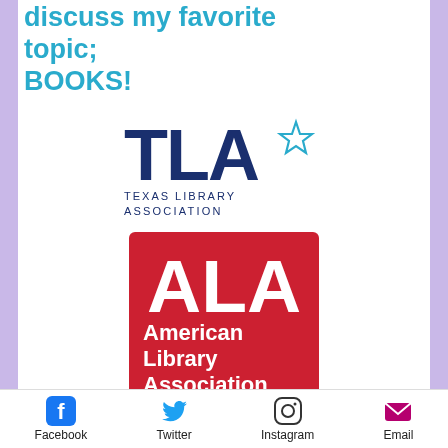discuss my favorite topic; BOOKS!
[Figure (logo): TLA Texas Library Association logo — dark blue block letters TLA with a star, subtitle TEXAS LIBRARY ASSOCIATION]
[Figure (logo): ALA American Library Association logo — white letters ALA on red background with American Library Association text]
[Figure (logo): Making Picture Book Magic Graduate badge — illustrated badge with children characters]
[Figure (logo): I'm An Insider! Children's Book Insider — The Children's Writing Monthly badge]
Facebook  Twitter  Instagram  Email